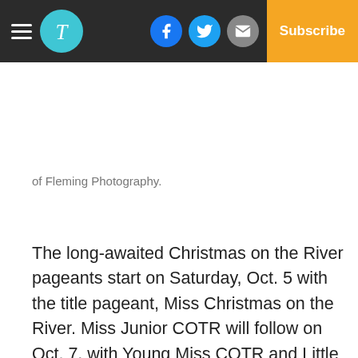The Demopolis Times — Subscribe
of Fleming Photography.
The long-awaited Christmas on the River pageants start on Saturday, Oct. 5 with the title pageant, Miss Christmas on the River. Miss Junior COTR will follow on Oct. 7, with Young Miss COTR and Little Miss COTR behind it on Oct. 8 and Oct. 9 respectively. Every pageant takes place at the Demopolis Civic Center at 7 p.m. except for Little Miss COTR, which takes place